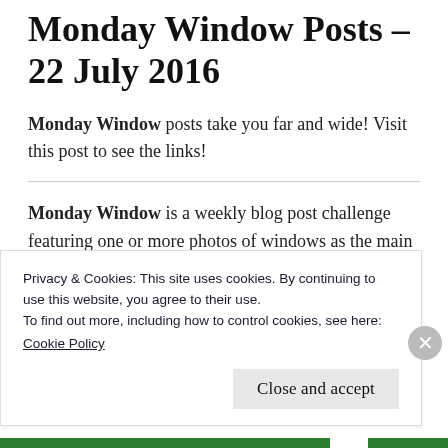Monday Window Posts – 22 July 2016
Monday Window posts take you far and wide! Visit this post to see the links!
Monday Window is a weekly blog post challenge featuring one or more photos of windows as the main subject. The posts are published every Monday at 14:16 UTC (give or
Privacy & Cookies: This site uses cookies. By continuing to use this website, you agree to their use.
To find out more, including how to control cookies, see here:
Cookie Policy
Close and accept